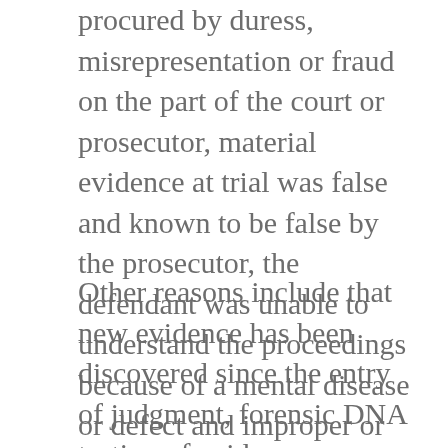procured by duress, misrepresentation or fraud on the part of the court or prosecutor, material evidence at trial was false and known to be false by the prosecutor, the defendant was unable to understand the proceedings because of a mental disease or defect and improper or prejudicial conduct not appearing on the record occurred during trial.
Other reasons include that new evidence has been discovered since the entry of judgment, forensic DNA testing of evidence performed since the entry of judgment is available, the judgment was obtained in violation of a right of the defendant protected by the constitution or the judgment is a conviction where the arresting charge was for loitering for the purpose of engaging in prostitution, provided that the defendant